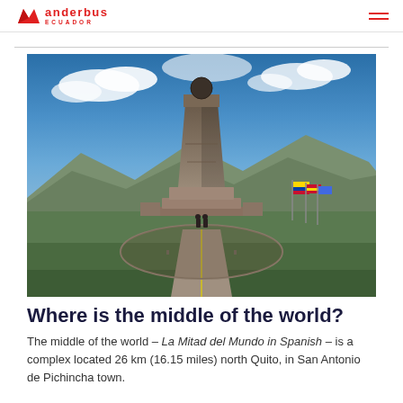Wanderbus Ecuador
[Figure (photo): The Mitad del Mundo monument (Middle of the World) in Ecuador — a large stepped stone pyramid tower with a globe on top, set against a blue sky with clouds, with a paved walkway and flags in the foreground, surrounded by green lawn and mountains in the background.]
Where is the middle of the world?
The middle of the world – La Mitad del Mundo in Spanish – is a complex located 26 km (16.15 miles) north Quito, in San Antonio de Pichincha town.